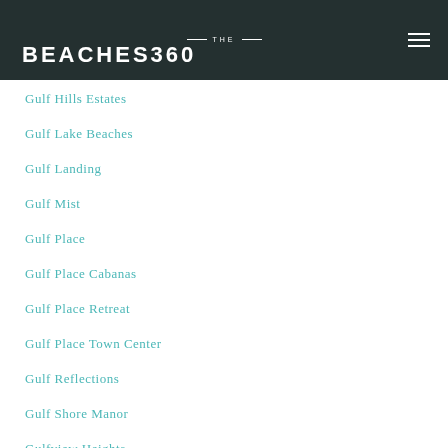[Figure (logo): The Beaches 360 logo with white text on dark teal/navy header background, with hamburger menu icon on the right]
Gulf Hills Estates
Gulf Lake Beaches
Gulf Landing
Gulf Mist
Gulf Place
Gulf Place Cabanas
Gulf Place Retreat
Gulf Place Town Center
Gulf Reflections
Gulf Shore Manor
Gulfview Heights
Gulfside Estates